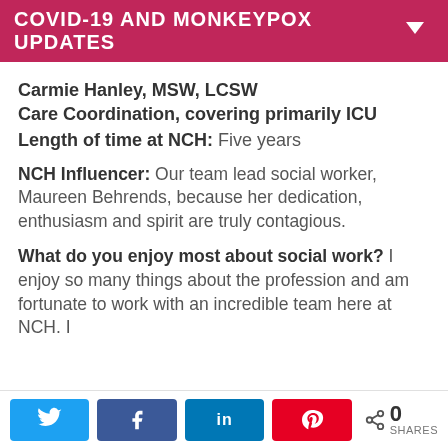COVID-19 AND MONKEYPOX UPDATES
Carmie Hanley, MSW, LCSW
Care Coordination, covering primarily ICU
Length of time at NCH: Five years
NCH Influencer: Our team lead social worker, Maureen Behrends, because her dedication, enthusiasm and spirit are truly contagious.
What do you enjoy most about social work? I enjoy so many things about the profession and am fortunate to work with an incredible team here at NCH. I
0 SHARES